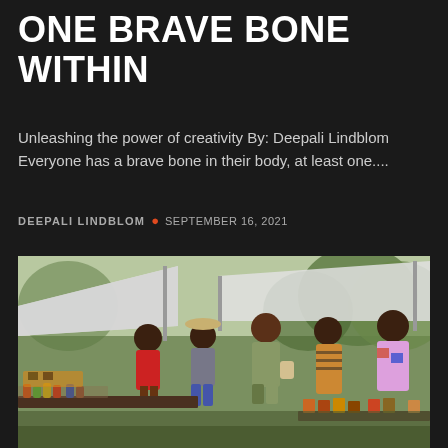ONE BRAVE BONE WITHIN
Unleashing the power of creativity By: Deepali Lindblom Everyone has a brave bone in their body, at least one....
DEEPALI LINDBLOM · SEPTEMBER 16, 2021
[Figure (photo): Outdoor market scene with people browsing vendor tables under white canopy tents. Various colorful items and bottles on display tables. People wearing colorful clothing and accessories, trees visible in background.]